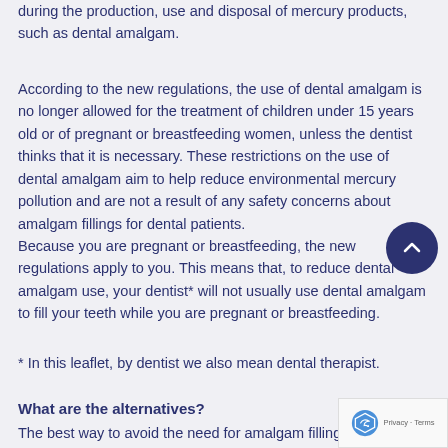during the production, use and disposal of mercury products, such as dental amalgam.
According to the new regulations, the use of dental amalgam is no longer allowed for the treatment of children under 15 years old or of pregnant or breastfeeding women, unless the dentist thinks that it is necessary. These restrictions on the use of dental amalgam aim to help reduce environmental mercury pollution and are not a result of any safety concerns about amalgam fillings for dental patients.
Because you are pregnant or breastfeeding, the new regulations apply to you. This means that, to reduce dental amalgam use, your dentist* will not usually use dental amalgam to fill your teeth while you are pregnant or breastfeeding.
* In this leaflet, by dentist we also mean dental therapist.
What are the alternatives?
The best way to avoid the need for amalgam fillings is to prevent tooth decay in the first place.